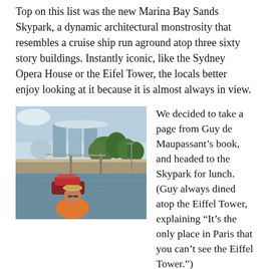Top on this list was the new Marina Bay Sands Skypark, a dynamic architectural monstrosity that resembles a cruise ship run aground atop three sixty story buildings. Instantly iconic, like the Sydney Opera House or the Eifel Tower, the locals better enjoy looking at it because it is almost always in view.
[Figure (photo): Photograph of Marina Bay Sands Skypark in Singapore viewed from the river, with a person in an orange shirt and hat in the foreground and a red bumboat on the water.]
We decided to take a page from Guy de Maupassant's book, and headed to the Skypark for lunch. (Guy always dined atop the Eiffel Tower, explaining “It’s the only place in Paris that you can’t see the Eiffel Tower.”)
First, we had to get there. Our walk took us over Pearl’s Hill